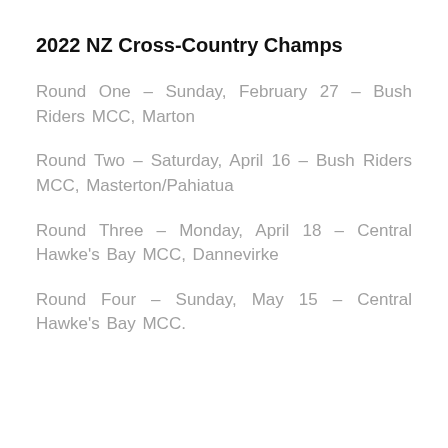2022 NZ Cross-Country Champs
Round One – Sunday, February 27 – Bush Riders MCC, Marton
Round Two – Saturday, April 16 – Bush Riders MCC, Masterton/Pahiatua
Round Three – Monday, April 18 – Central Hawke's Bay MCC, Dannevirke
Round Four – Sunday, May 15 – Central Hawke's Bay MCC.